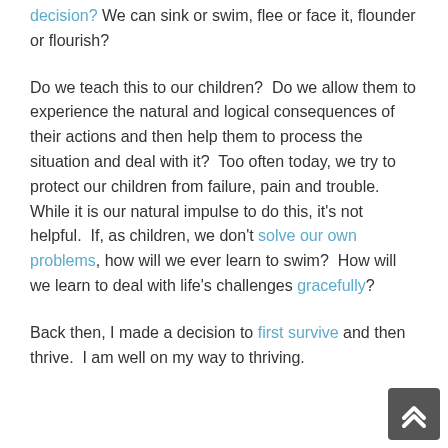decision? We can sink or swim, flee or face it, flounder or flourish?
Do we teach this to our children?  Do we allow them to experience the natural and logical consequences of their actions and then help them to process the situation and deal with it?  Too often today, we try to protect our children from failure, pain and trouble.  While it is our natural impulse to do this, it's not helpful.  If, as children, we don't solve our own problems, how will we ever learn to swim?  How will we learn to deal with life's challenges gracefully?
Back then, I made a decision to first survive and then thrive.  I am well on my way to thriving.